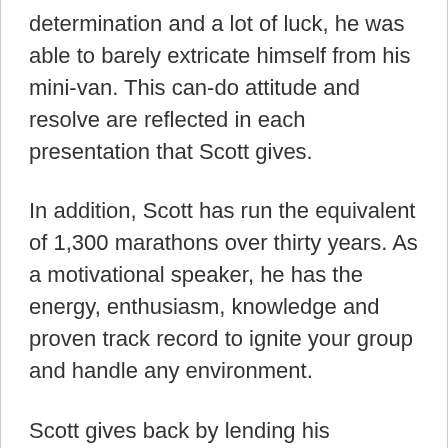determination and a lot of luck, he was able to barely extricate himself from his mini-van. This can-do attitude and resolve are reflected in each presentation that Scott gives.
In addition, Scott has run the equivalent of 1,300 marathons over thirty years. As a motivational speaker, he has the energy, enthusiasm, knowledge and proven track record to ignite your group and handle any environment.
Scott gives back by lending his professional skills to the Parenting Network, Wisconsin Father's for Children and Family and other groups who need facilitation, development, strategy of